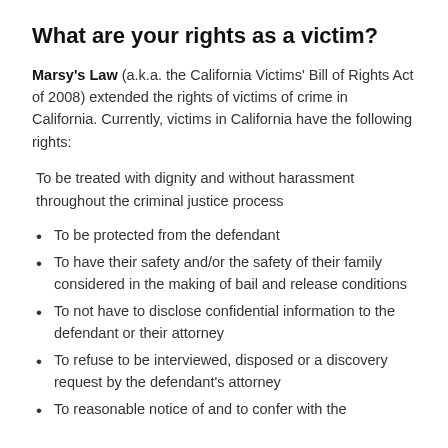What are your rights as a victim?
Marsy's Law (a.k.a. the California Victims' Bill of Rights Act of 2008) extended the rights of victims of crime in California. Currently, victims in California have the following rights:
To be treated with dignity and without harassment throughout the criminal justice process
To be protected from the defendant
To have their safety and/or the safety of their family considered in the making of bail and release conditions
To not have to disclose confidential information to the defendant or their attorney
To refuse to be interviewed, disposed or a discovery request by the defendant's attorney
To reasonable notice of and to confer with the